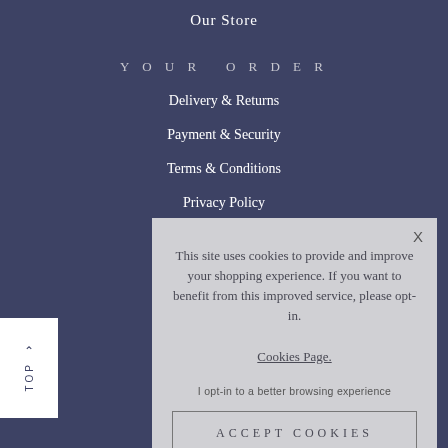Our Store
YOUR ORDER
Delivery & Returns
Payment & Security
Terms & Conditions
Privacy Policy
^ TOP
This site uses cookies to provide and improve your shopping experience. If you want to benefit from this improved service, please opt-in. Cookies Page.
I opt-in to a better browsing experience
ACCEPT COOKIES